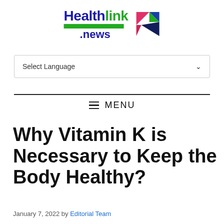[Figure (logo): Healthlink.news logo with blue and green text and a triangular geometric icon]
Select Language
≡  MENU
Why Vitamin K is Necessary to Keep the Body Healthy?
January 7, 2022 by Editorial Team